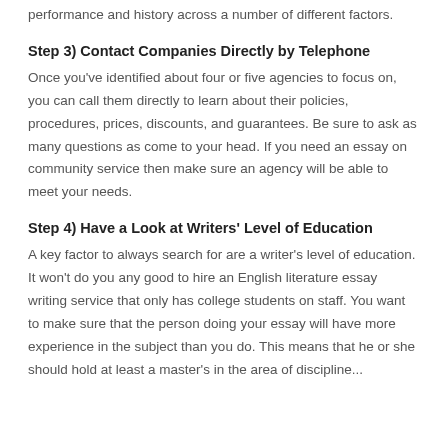performance and history across a number of different factors.
Step 3) Contact Companies Directly by Telephone
Once you've identified about four or five agencies to focus on, you can call them directly to learn about their policies, procedures, prices, discounts, and guarantees. Be sure to ask as many questions as come to your head. If you need an essay on community service then make sure an agency will be able to meet your needs.
Step 4) Have a Look at Writers' Level of Education
A key factor to always search for are a writer's level of education. It won't do you any good to hire an English literature essay writing service that only has college students on staff. You want to make sure that the person doing your essay will have more experience in the subject than you do. This means that he or she should hold at least a master's in the area of discipline...